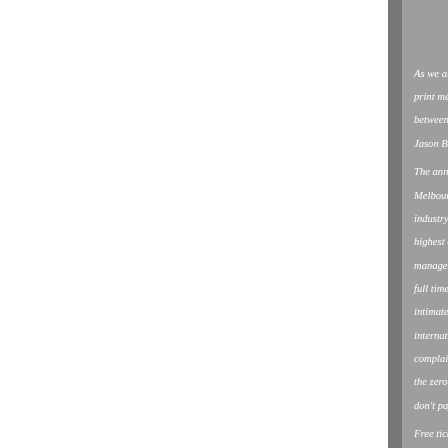As we all know theatre criticism in print media it's all over between 800 and 1200 wo Jason Blake gets a couple The announcement last Melbourne-based blog sh industry. Alison is super highest order, nothing in managed a creative writi full time. As she shoul intimate and informed an international profile. Th complain about co-op ra the zero dollars in retur don't pay any more. And Free tickets to the serio They're not lollies as edi